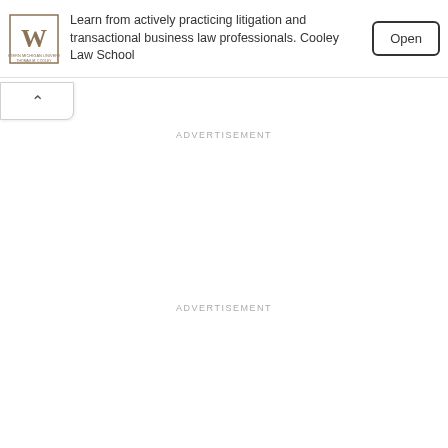[Figure (screenshot): Advertisement banner with Cooley Law School logo (W monogram), text about learning from practicing litigation and transactional business law professionals, and an Open button]
ADVERTISEMENT
ADVERTISEMENT